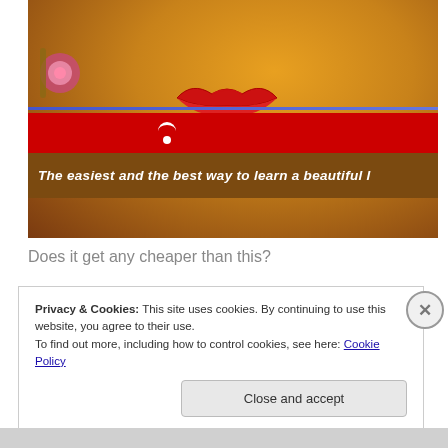[Figure (photo): Photo of an ornate painted or illustrated face (appears to be a classical Indian art style) with red lips and golden skin tone, with a red banner bearing a white logo icon and a brown/gold diagonal band with white italic text reading 'The easiest and the best way to learn a beautiful l...' — a language learning product advertisement]
Does it get any cheaper than this?
Privacy & Cookies: This site uses cookies. By continuing to use this website, you agree to their use.
To find out more, including how to control cookies, see here: Cookie Policy
Close and accept